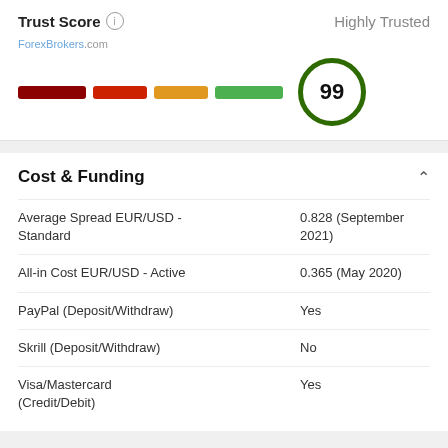Trust Score ⓘ — Highly Trusted
[Figure (infographic): Trust score gauge with four colored bars (dark red, red, orange, green) and a score circle showing 99]
Cost & Funding
|  |  |
| --- | --- |
| Average Spread EUR/USD - Standard | 0.828 (September 2021) |
| All-in Cost EUR/USD - Active | 0.365 (May 2020) |
| PayPal (Deposit/Withdraw) | Yes |
| Skrill (Deposit/Withdraw) | No |
| Visa/Mastercard (Credit/Debit) | Yes |
Regulation